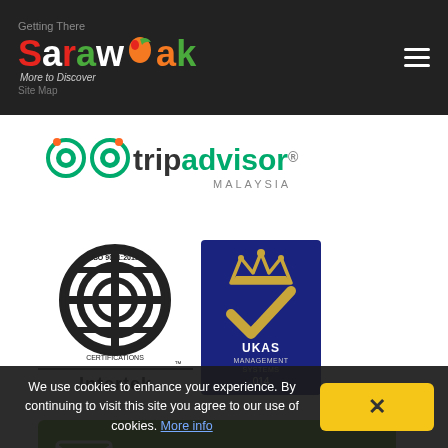Getting There
[Figure (logo): Sarawak More to Discover tourism logo with colorful lettering on dark background, hamburger menu icon on right]
[Figure (logo): TripAdvisor Malaysia logo with owl eyes icon]
[Figure (logo): ISO 9001:2015 Intertek certification logo and UKAS Management Systems 014 logo]
[Figure (infographic): Green Subscribe banner with envelope icon, SUBSCRIBE text, GO button, and text: Subscribe to our newsletter list to get the updates in your email inbox]
We use cookies to enhance your experience. By continuing to visit this site you agree to our use of cookies. More info